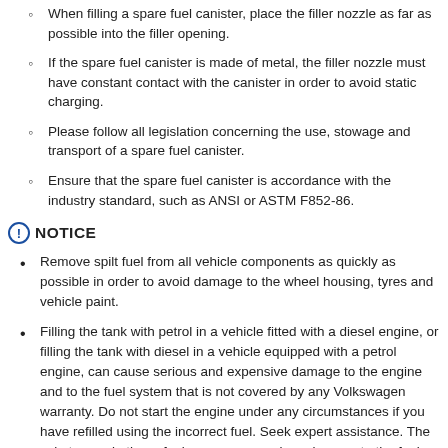When filling a spare fuel canister, place the filler nozzle as far as possible into the filler opening.
If the spare fuel canister is made of metal, the filler nozzle must have constant contact with the canister in order to avoid static charging.
Please follow all legislation concerning the use, stowage and transport of a spare fuel canister.
Ensure that the spare fuel canister is accordance with the industry standard, such as ANSI or ASTM F852-86.
NOTICE
Remove spilt fuel from all vehicle components as quickly as possible in order to avoid damage to the wheel housing, tyres and vehicle paint.
Filling the tank with petrol in a vehicle fitted with a diesel engine, or filling the tank with diesel in a vehicle equipped with a petrol engine, can cause serious and expensive damage to the engine and to the fuel system that is not covered by any Volkswagen warranty. Do not start the engine under any circumstances if you have refilled using the incorrect fuel. Seek expert assistance. The substances in these fuels can cause serious damage to the fuel system and to the engine itself if it is switched on.